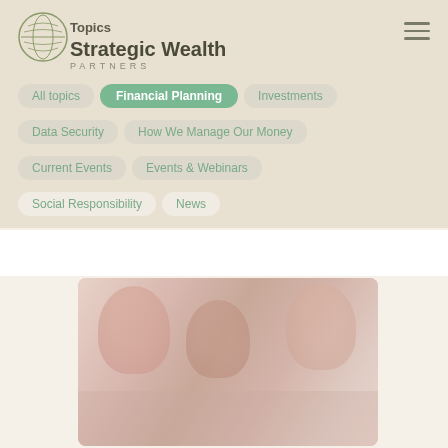Topics
Strategic Wealth PARTNERS Financial Planning
All topics
Financial Planning
Investments
Data Security
How We Manage Our Money
Current Events
Events & Webinars
Social Responsibility
News
[Figure (photo): Photo of people (family or group) looking at something together, faded/light-washed image]